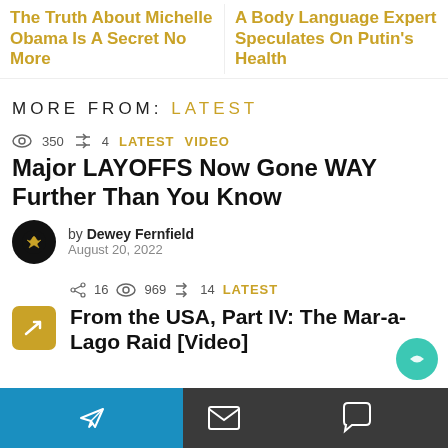The Truth About Michelle Obama Is A Secret No More
A Body Language Expert Speculates On Putin's Health
MORE FROM: LATEST
350 views  4 shares  LATEST VIDEO
Major LAYOFFS Now Gone WAY Further Than You Know
by Dewey Fernfield  August 20, 2022
16 shares  969 views  14 shares  LATEST
From the USA, Part IV: The Mar-a-Lago Raid [Video]